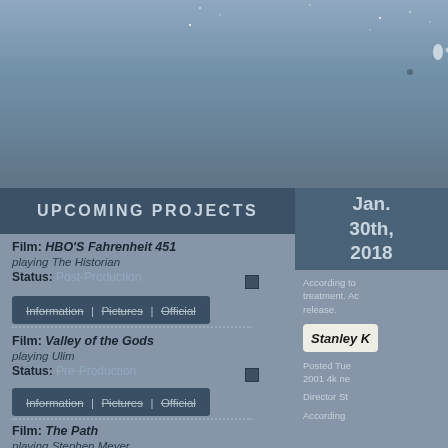[Figure (photo): Atmospheric blue-grey sky background with scattered light particles/stars]
UPCOMING PROJECTS
Film: HBO'S Fahrenheit 451
playing The Historian
Status: Post-Production
Information | Pictures | Official
Film: Valley of the Gods
playing Ulim
Status: Pre-Production
Information | Pictures | Official
Film: The Path
playing Stephen Meyer
Jan. 30th, 2018
According to treatment. Ac release.
Stanley K
Posted Tue 2001 4k ne
Director St
According